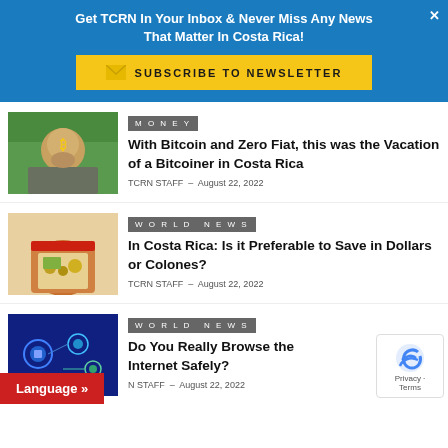Get TCRN In Your Inbox & Never Miss Any News That Matter In Costa Rica!
SUBSCRIBE TO NEWSLETTER
[Figure (photo): Man holding a Bitcoin coin outdoors in a green landscape]
MONEY
With Bitcoin and Zero Fiat, this was the Vacation of a Bitcoiner in Costa Rica
TCRN STAFF - August 22, 2022
[Figure (photo): Glass jar filled with coins and money]
WORLD NEWS
In Costa Rica: Is it Preferable to Save in Dollars or Colones?
TCRN STAFF - August 22, 2022
[Figure (photo): Digital security concept with padlock icons]
WORLD NEWS
Do You Really Browse the Internet Safely?
N STAFF - August 22, 2022